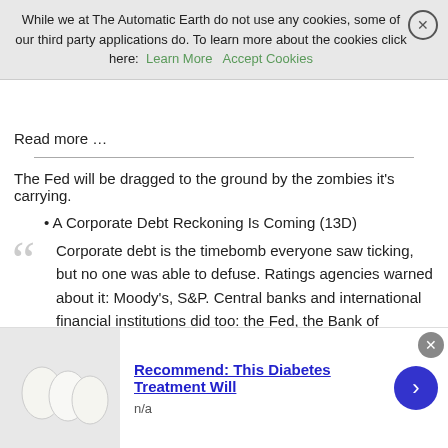[Figure (screenshot): Cookie consent banner: 'While we at The Automatic Earth do not use any cookies, some of our third party applications do. To learn more about the cookies click here: Learn More  Accept Cookies' with a close (X) button on the right.]
Read more …
The Fed will be dragged to the ground by the zombies it's carrying.
A Corporate Debt Reckoning Is Coming (13D)
Corporate debt is the timebomb everyone saw ticking, but no one was able to defuse. Ratings agencies warned about it: Moody's, S&P. Central banks and international financial institutions did too: the Fed, the Bank of England, the Bank for International Settlements, the IMF. Financial luminaries expressed concern: Jamie Dimon, Seth Klarman, Jes Staley, Jeffrey Gundlach, Henry McVey. Even a presidential candidate brought the issue on the campaign trail: Elizabeth Warren.
[Figure (infographic): Advertisement banner at bottom: image of white eggs, title 'Recommend: This Diabetes Treatment Will', subtext 'n/a', blue circular arrow button on right, close button top-right.]